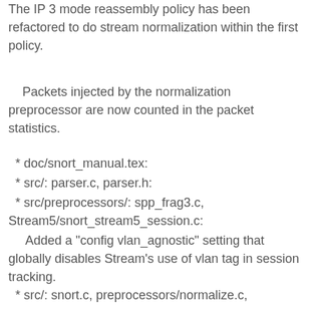The IP 3 mode reassembly policy has been refactored to do stream normalization within the first policy.
Packets injected by the normalization preprocessor are now counted in the packet statistics.
* doc/snort_manual.tex:
* src/: parser.c, parser.h:
* src/preprocessors/: spp_frag3.c, Stream5/snort_stream5_session.c:
Added a "config vlan_agnostic" setting that globally disables Stream's use of vlan tag in session tracking.
* src/: snort.c, preprocessors/normalize.c, preprocessors/spp_normalize.c, preprocessors/spp_normalize.h, preprocessors/perf-base.c, preprocessors/perf-base.h:
* doc/: README.normalize, snort_manual.pdf, snort_manual.tex:
Fixed the normalization preprocessor to call its parent initialization...